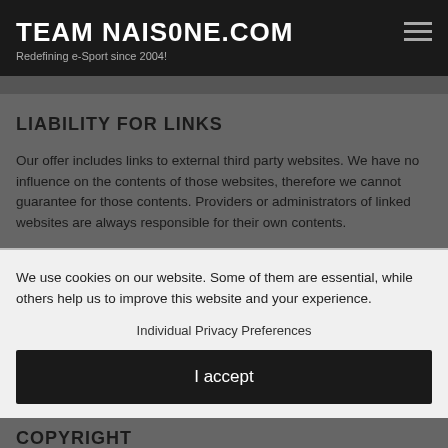TEAM NAIS0NE.COM
Redefining e-Sport since 2004!
LIABILITY FOR LINKS
Our offer includes links to external third party websites. We have no influence on the contents of those websites, therefore we cannot guarantee for those contents. Providers or administrators of linked websites are always responsible for their own contents.
We use cookies on our website. Some of them are essential, while others help us to improve this website and your experience.
Individual Privacy Preferences
I accept
COPYRIGHT